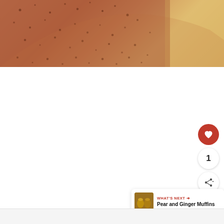[Figure (photo): Close-up of a frothy brownish-pink beverage in a glass, with visible bubbles on the surface, placed on a wooden surface. The image is cropped showing only the top-right portion of the beverage.]
[Figure (infographic): UI overlay with a red circular heart/favorite button, a white circular badge showing the number 1, and a white circular share button with a share icon and plus symbol.]
[Figure (infographic): "WHAT'S NEXT" banner card in the bottom-right with a small thumbnail image of muffins and the text 'Pear and Ginger Muffins'.]